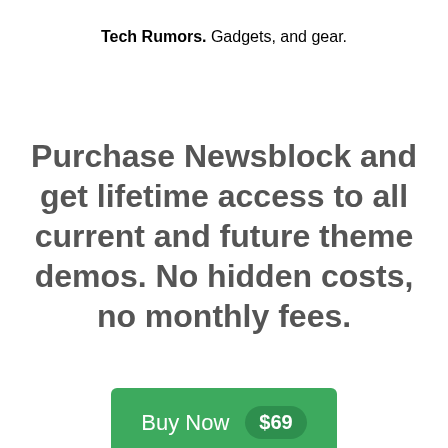Tech Rumors.  Gadgets, and gear.
Purchase Newsblock and get lifetime access to all current and future theme demos. No hidden costs, no monthly fees.
[Figure (other): Green Buy Now button with $69 price badge]